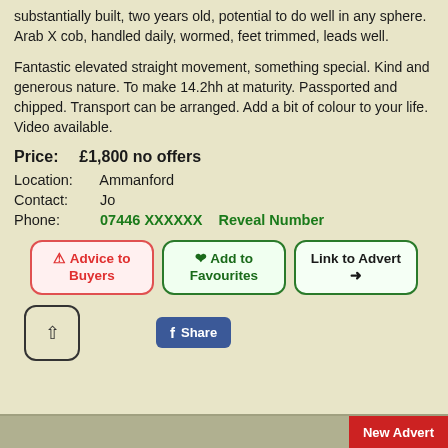substantially built, two years old, potential to do well in any sphere. Arab X cob, handled daily, wormed, feet trimmed, leads well.
Fantastic elevated straight movement, something special. Kind and generous nature. To make 14.2hh at maturity. Passported and chipped. Transport can be arranged. Add a bit of colour to your life. Video available.
Price: £1,800 no offers
Location: Ammanford
Contact: Jo
Phone: 07446 XXXXXX  Reveal Number
[Figure (infographic): Three buttons: Advice to Buyers (red border), Add to Favourites (green, with heart icon), Link to Advert (green border with arrow icon). Below: scroll-up button and Facebook Share button.]
New Advert